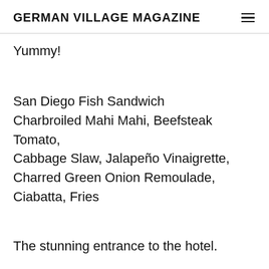GERMAN VILLAGE MAGAZINE
Yummy!
San Diego Fish Sandwich
Charbroiled Mahi Mahi, Beefsteak Tomato, Cabbage Slaw, Jalapeño Vinaigrette, Charred Green Onion Remoulade, Ciabatta, Fries
The stunning entrance to the hotel.